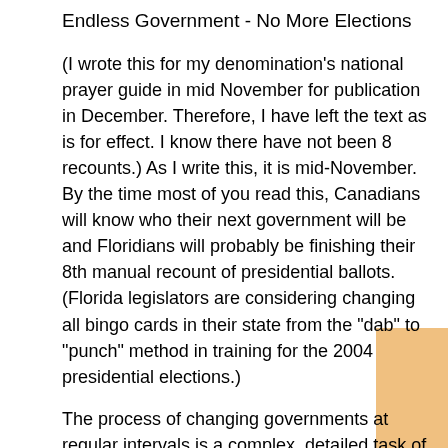Endless Government - No More Elections
(I wrote this for my denomination's national prayer guide in mid November for publication in December. Therefore, I have left the text as is for effect. I know there have not been 8 recounts.) As I write this, it is mid-November. By the time most of you read this, Canadians will know who their next government will be and Floridians will probably be finishing their 8th manual recount of presidential ballots. (Florida legislators are considering changing all bingo cards in their state from the "dab" to "punch" method in training for the 2004 presidential elections.)
The process of changing governments at regular intervals is a complex, detailed task of mammoth proportions that must take place. It must take place because the finite humans that lead us eventually get either worn out or out of date. Wouldn't it be great if we could just elect one government forever that would